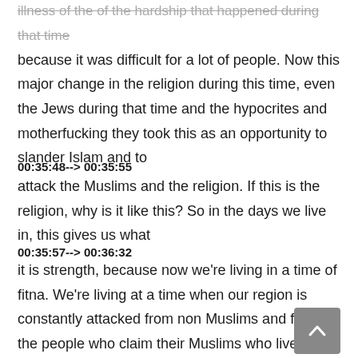illness of the of the hardship that happened during that time because it was difficult for a lot of people. Now this major change in the religion during this time, even the Jews during that time and the hypocrites and motherfucking they took this as an opportunity to slander Islam and to
00:35:48--> 00:35:55
attack the Muslims and the religion. If this is the religion, why is it like this? So in the days we live in, this gives us what
00:35:57--> 00:36:32
it is strength, because now we're living in a time of fitna. We're living at a time when our region is constantly attacked from non Muslims and from the people who claim their Muslims who live in the Muslim countries. Look now in the last few years in Muslim countries, the